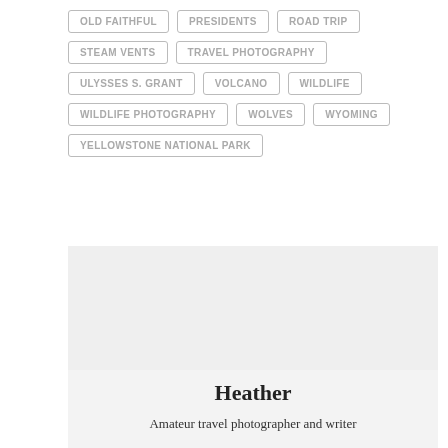OLD FAITHFUL
PRESIDENTS
ROAD TRIP
STEAM VENTS
TRAVEL PHOTOGRAPHY
ULYSSES S. GRANT
VOLCANO
WILDLIFE
WILDLIFE PHOTOGRAPHY
WOLVES
WYOMING
YELLOWSTONE NATIONAL PARK
[Figure (illustration): Author avatar placeholder box with light gray background]
Heather
Amateur travel photographer and writer